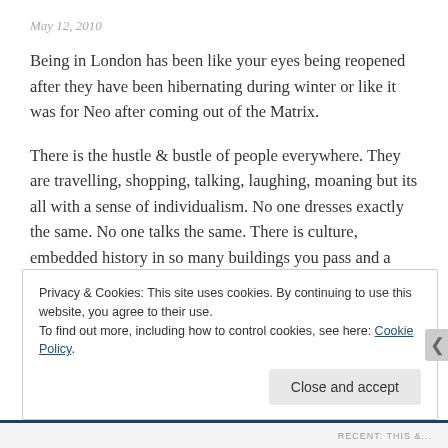May 12, 2010
Being in London has been like your eyes being reopened after they have been hibernating during winter or like it was for Neo after coming out of the Matrix.
There is the hustle & bustle of people everywhere. They are travelling, shopping, talking, laughing, moaning but its all with a sense of individualism. No one dresses exactly the same. No one talks the same. There is culture, embedded history in so many buildings you pass and a sense that you are part of something big.
Privacy & Cookies: This site uses cookies. By continuing to use this website, you agree to their use. To find out more, including how to control cookies, see here: Cookie Policy
RECENT: THIS &...